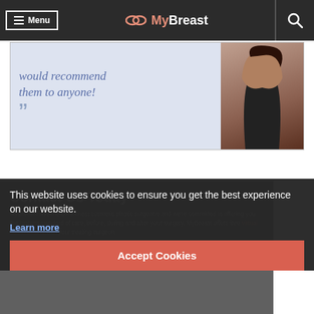Menu | MyBreast
[Figure (screenshot): Banner with italic quote text 'would recommend them to anyone!' in blue italic serif font with closing quotation marks, beside a photo of a woman with dark hair]
Contact Us Today
MyBreast have the UK's finest cosmetic plastic surgeons and we're committed to offering you the highest standard of care, before, during and after your surgery. MyBreast offers free virtual consultations with your treating surgeon.

Please give us a call on 0203 642 1490 to book your consultation or pop your details on our form and one of our friendly patient advisors will call you to answer any questions
This website uses cookies to ensure you get the best experience on our website.
Learn more
Accept Cookies